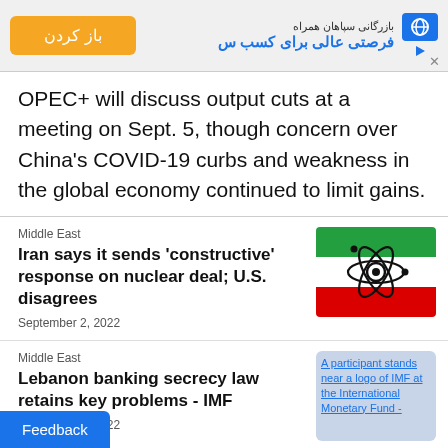[Figure (other): Advertisement banner with Persian text, orange button labeled 'باز کردن', and logo icon]
OPEC+ will discuss output cuts at a meeting on Sept. 5, though concern over China's COVID-19 curbs and weakness in the global economy continued to limit gains.
Middle East
Iran says it sends 'constructive' response on nuclear deal; U.S. disagrees
September 2, 2022
[Figure (photo): Photo of Iranian flag with nuclear atom symbol overlay]
Middle East
Lebanon banking secrecy law retains key problems - IMF
September 1, 2022
[Figure (photo): A participant stands near a logo of IMF at the International Monetary Fund - image link]
Feedback